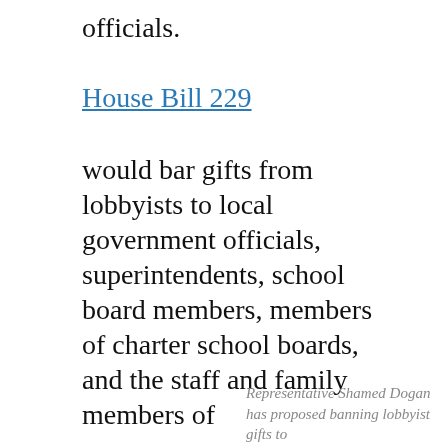officials.
House Bill 229
would bar gifts from lobbyists to local government officials, superintendents, school board members, members of charter school boards, and the staff and family members of
Representative Shamed Dogan has proposed banning lobbyist gifts to